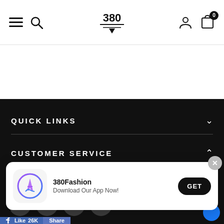380 (logo) - Navigation bar with hamburger menu, search, user icon, cart (0)
QUICK LINKS
CUSTOMER SERVICE
STAY CONNECTED
[Figure (screenshot): Social media icons: Facebook, Twitter, Instagram, Snapchat]
[Figure (screenshot): App download popup: 380Fashion app icon with Apple App Store symbol, text '380Fashion Download Our App Now!', GET button, close X button]
[Figure (screenshot): Facebook Like (26K) and Share buttons at bottom]